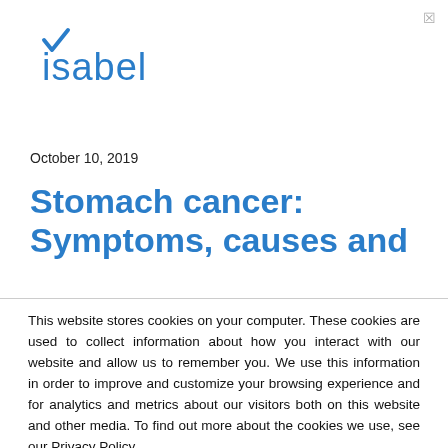[Figure (logo): Isabel logo with blue checkmark and blue text 'isabel']
October 10, 2019
Stomach cancer: Symptoms, causes and
This website stores cookies on your computer. These cookies are used to collect information about how you interact with our website and allow us to remember you. We use this information in order to improve and customize your browsing experience and for analytics and metrics about our visitors both on this website and other media. To find out more about the cookies we use, see our Privacy Policy.
Accept